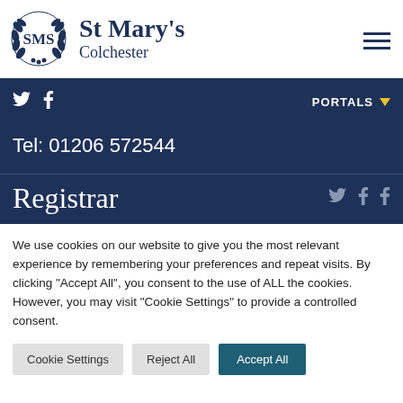[Figure (logo): St Mary's Colchester school logo with emblem/crest and text]
St Mary's Colchester
Tel: 01206 572544
Registrar
We use cookies on our website to give you the most relevant experience by remembering your preferences and repeat visits. By clicking "Accept All", you consent to the use of ALL the cookies. However, you may visit "Cookie Settings" to provide a controlled consent.